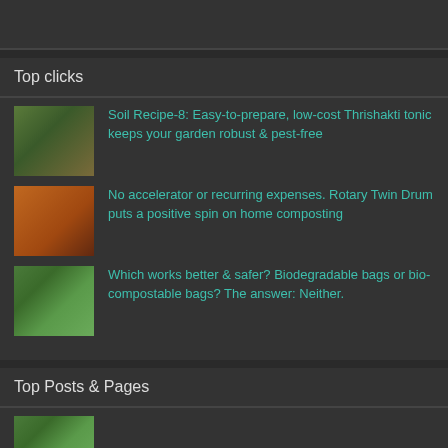Top clicks
Soil Recipe-8: Easy-to-prepare, low-cost Thrishakti tonic keeps your garden robust & pest-free
No accelerator or recurring expenses. Rotary Twin Drum puts a positive spin on home composting
Which works better & safer? Biodegradable bags or bio-compostable bags? The answer: Neither.
Top Posts & Pages